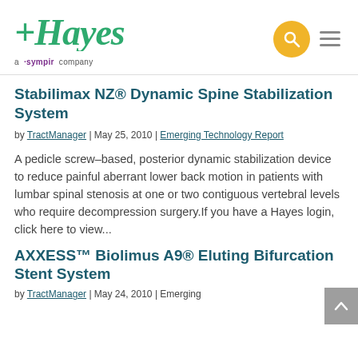[Figure (logo): Hayes logo — green italic bold text with plus symbol, subtitle 'a sympir company']
Stabilimax NZ® Dynamic Spine Stabilization System
by TractManager | May 25, 2010 | Emerging Technology Report
A pedicle screw–based, posterior dynamic stabilization device to reduce painful aberrant lower back motion in patients with lumbar spinal stenosis at one or two contiguous vertebral levels who require decompression surgery.If you have a Hayes login, click here to view...
AXXESS™ Biolimus A9® Eluting Bifurcation Stent System
by TractManager | May 24, 2010 | Emerging